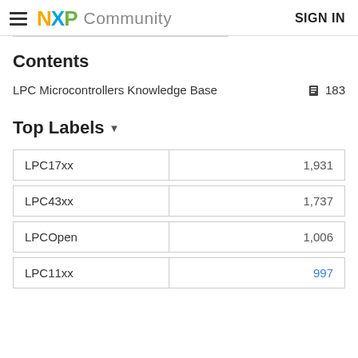NXP Community  SIGN IN
Contents
LPC Microcontrollers Knowledge Base  183
Top Labels
| Label | Count |
| --- | --- |
| LPC17xx | 1,931 |
| LPC43xx | 1,737 |
| LPCOpen | 1,006 |
| LPC11xx | 997 |